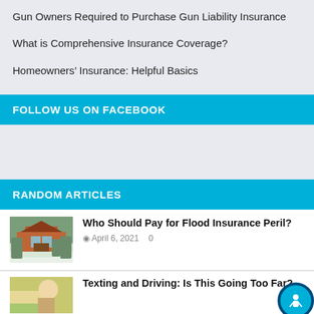Gun Owners Required to Purchase Gun Liability Insurance
What is Comprehensive Insurance Coverage?
Homeowners' Insurance: Helpful Basics
FOLLOW US ON FACEBOOK
[Figure (other): Facebook widget placeholder box]
RANDOM ARTICLES
[Figure (photo): Photo of a red brick house covered in snow with bare trees]
Who Should Pay for Flood Insurance Peril?
April 6, 2021   0
[Figure (photo): Partial photo showing a person, cropped at bottom of page]
Texting and Driving: Is This Going Too Far?